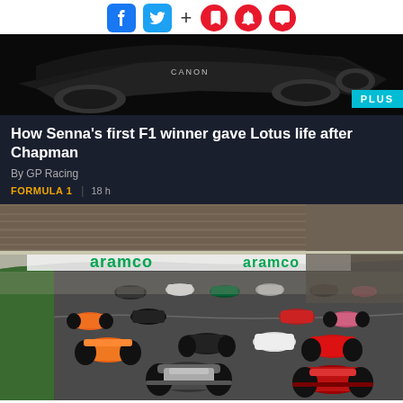Social sharing icons: Facebook, Twitter, +, bookmark, notification, comment
[Figure (photo): F1 car viewed from above/side against dark background with PLUS badge overlay]
How Senna's first F1 winner gave Lotus life after Chapman
By GP Racing
FORMULA 1  |  18 h
[Figure (photo): Formula 1 race start with multiple cars on track, aramco sponsorship visible on barriers, large crowd in grandstands]